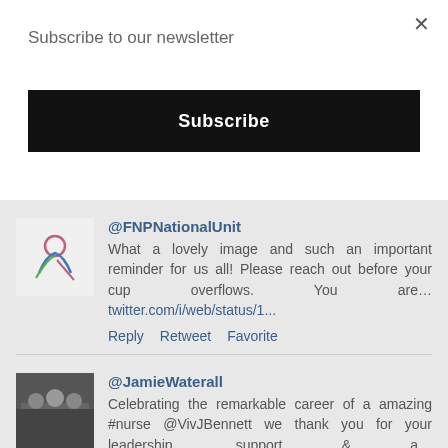Subscribe to our newsletter
Subscribe
@FNPNationalUnit
What a lovely image and such an important reminder for us all! Please reach out before your cup overflows. You are… twitter.com/i/web/status/1...
Reply  Retweet  Favorite
@JamieWaterall
Celebrating the remarkable career of a amazing #nurse @VivJBennett we thank you for your leadership, support & a… twitter.com/i/web/status/1...
Retweeted by @FNPNationalUnit
Reply  Retweet  Favorite